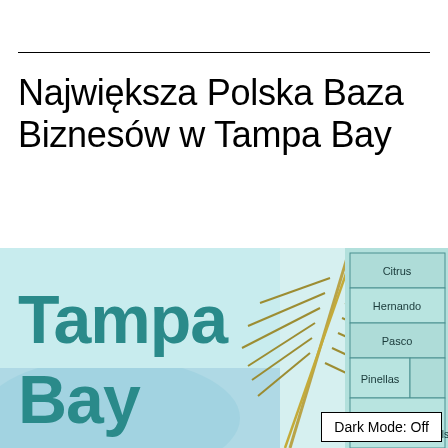Największa Polska Baza Biznesów w Tampa Bay
[Figure (illustration): Tampa Bay area promotional image showing the text 'Tampa Bay' in large teal letters over a scenic background with a palm frond, overlaid with a map of Tampa Bay counties including Citrus, Hernando, Pasco, Pinellas, Manatee, and Hillsborough]
Dark Mode: Off